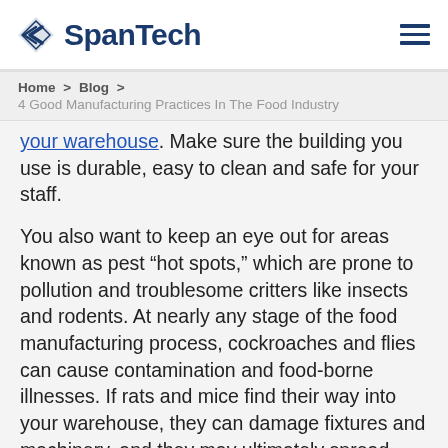SpanTech
Home > Blog > 4 Good Manufacturing Practices In The Food Industry
your warehouse. Make sure the building you use is durable, easy to clean and safe for your staff.
You also want to keep an eye out for areas known as pest “hot spots,” which are prone to pollution and troublesome critters like insects and rodents. At nearly any stage of the food manufacturing process, cockroaches and flies can cause contamination and food-borne illnesses. If rats and mice find their way into your warehouse, they can damage fixtures and machinery, and they may ultimately spread diseases.